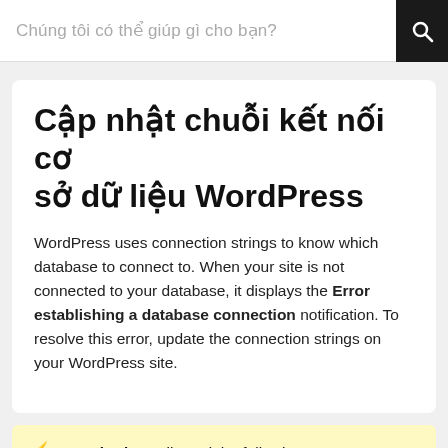Chúng tôi có thể giúp gì cho bạn?
Cập nhật chuỗi kết nối cơ sở dữ liệu WordPress
WordPress uses connection strings to know which database to connect to. When your site is not connected to your database, it displays the Error establishing a database connection notification. To resolve this error, update the connection strings on your WordPress site.
⚡ Required: You'll need the following to complete all steps in this article: